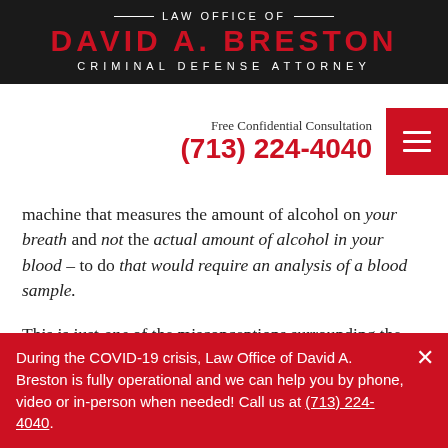LAW OFFICE OF DAVID A. BRESTON CRIMINAL DEFENSE ATTORNEY
Free Confidential Consultation (713) 224-4040
machine that measures the amount of alcohol on your breath and not the actual amount of alcohol in your blood – to do that would require an analysis of a blood sample.
This is just one of the misconceptions surrounding the machine that police have come to rely on when
During the COVID-19 crisis, Law Office of David A. Breston is fully operational and we can help you by phone, video or in-person when needed! Call us at (713) 224-4040.